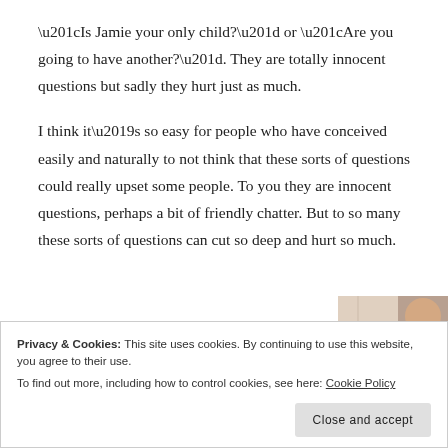“Is Jamie your only child?” or “Are you going to have another?”. They are totally innocent questions but sadly they hurt just as much.
I think it’s so easy for people who have conceived easily and naturally to not think that these sorts of questions could really upset some people. To you they are innocent questions, perhaps a bit of friendly chatter. But to so many these sorts of questions can cut so deep and hurt so much.
[Figure (photo): Partial image of a person visible at the right edge of the page, partially cropped]
Privacy & Cookies: This site uses cookies. By continuing to use this website, you agree to their use.
To find out more, including how to control cookies, see here: Cookie Policy
Close and accept